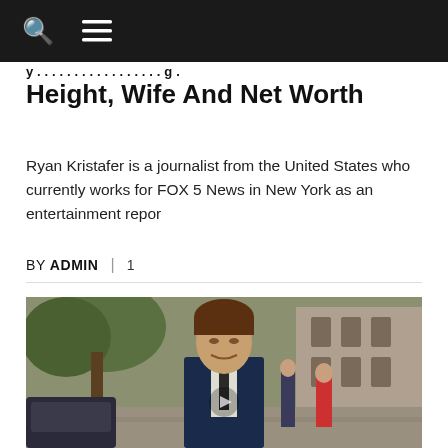Navigation bar with search and menu icons
Height, Wife And Net Worth
Ryan Kristafer is a journalist from the United States who currently works for FOX 5 News in New York as an entertainment repor
BY ADMIN | 1
[Figure (photo): Man in dark navy suit and tie standing on an urban street, outdoors, with trees and buildings in the background. A few pedestrians are visible behind him.]